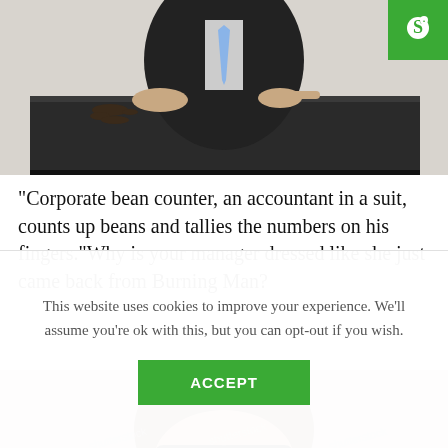[Figure (photo): A man in a suit and tie sitting behind a dark desk, pointing with fingers. Dark beans or objects scattered on the desk. White background.]
"Corporate bean counter, an accountant in a suit, counts up beans and tallies the numbers on his fingers."Why is your manager dressed like she just came back from Burning Man?
[Figure (photo): A person with dark curly hair peeking over a desk holding binoculars up to their eyes, looking through them. Watermark text visible in background.]
This website uses cookies to improve your experience. We'll assume you're ok with this, but you can opt-out if you wish.
ACCEPT